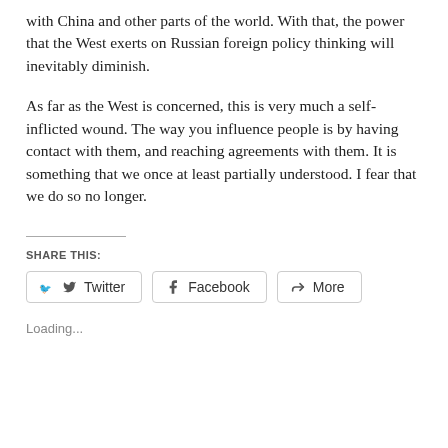with China and other parts of the world. With that, the power that the West exerts on Russian foreign policy thinking will inevitably diminish.
As far as the West is concerned, this is very much a self-inflicted wound. The way you influence people is by having contact with them, and reaching agreements with them. It is something that we once at least partially understood. I fear that we do so no longer.
SHARE THIS:
Twitter  Facebook  More
Loading...